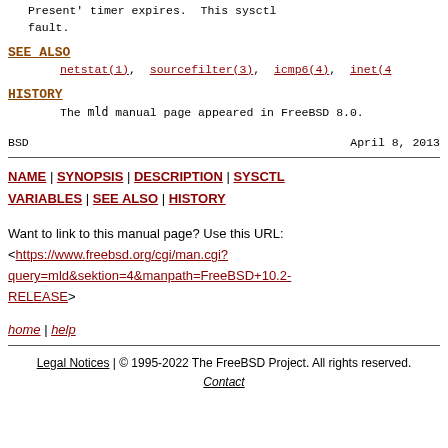Present' timer expires.  This sysctl
fault.
SEE ALSO
netstat(1), sourcefilter(3), icmp6(4), inet(4
HISTORY
The mld manual page appeared in FreeBSD 8.0.
BSD                                    April 8, 2013
NAME | SYNOPSIS | DESCRIPTION | SYSCTL VARIABLES | SEE ALSO | HISTORY
Want to link to this manual page? Use this URL:
<https://www.freebsd.org/cgi/man.cgi?query=mld&sektion=4&manpath=FreeBSD+10.2-RELEASE>
home | help
Legal Notices | © 1995-2022 The FreeBSD Project. All rights reserved.
Contact